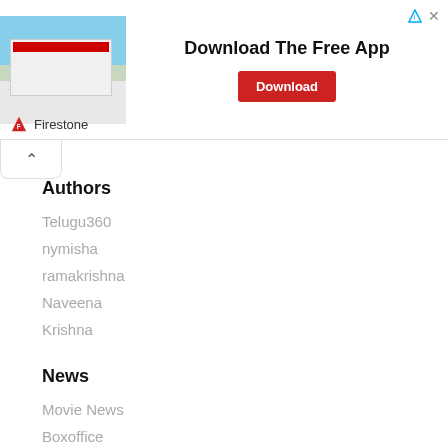[Figure (photo): Firestone store exterior with red building sign, advertisement banner with 'Download The Free App' headline and red Download button. Top right has AdChoices and close (X) icons. Bottom shows Firestone logo and brand name.]
Authors
Telugu360
nymisha
ramakrishna
Naveena
Krishna
News
Movie News
Boxoffice
Politics